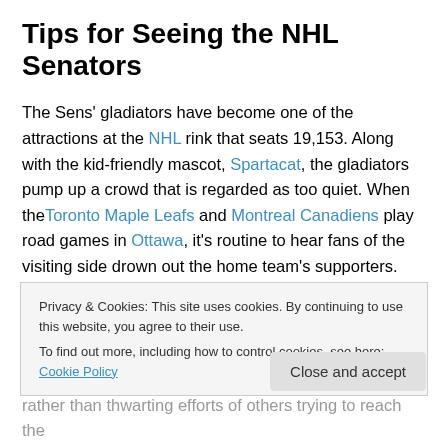Tips for Seeing the NHL Senators
The Sens' gladiators have become one of the attractions at the NHL rink that seats 19,153. Along with the kid-friendly mascot, Spartacat, the gladiators pump up a crowd that is regarded as too quiet. When the Toronto Maple Leafs and Montreal Canadiens play road games in Ottawa, it's routine to hear fans of the visiting side drown out the home team's supporters. This year, the Senators asked season-ticket holders to refrain from
Privacy & Cookies: This site uses cookies. By continuing to use this website, you agree to their use.
To find out more, including how to control cookies, see here: Cookie Policy
rather than thwarting efforts of others trying to reach the